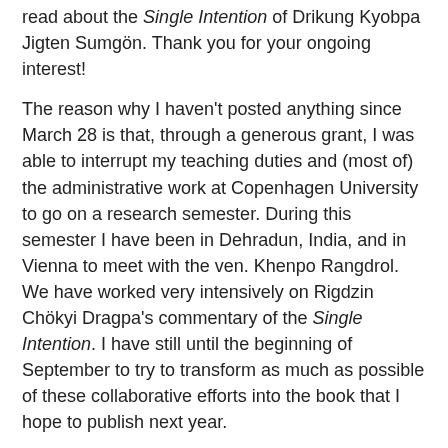read about the Single Intention of Drikung Kyobpa Jigten Sumgön. Thank you for your ongoing interest!
The reason why I haven't posted anything since March 28 is that, through a generous grant, I was able to interrupt my teaching duties and (most of) the administrative work at Copenhagen University to go on a research semester. During this semester I have been in Dehradun, India, and in Vienna to meet with the ven. Khenpo Rangdrol. We have worked very intensively on Rigdzin Chökyi Dragpa's commentary of the Single Intention. I have still until the beginning of September to try to transform as much as possible of these collaborative efforts into the book that I hope to publish next year.
* * * * * * * * * * * * * * * * * * * * * * * * * * * * * * * * * * * * * * * * * * * * *
* * * * * *